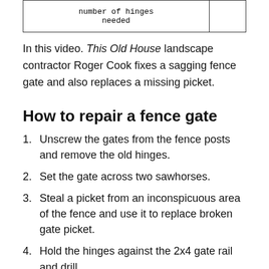| number of hinges needed |  |
| --- | --- |
|  |  |
In this video. This Old House landscape contractor Roger Cook fixes a sagging fence gate and also replaces a missing picket.
How to repair a fence gate
Unscrew the gates from the fence posts and remove the old hinges.
Set the gate across two sawhorses.
Steal a picket from an inconspicuous area of the fence and use it to replace broken gate picket.
Hold the hinges against the 2x4 gate rail and drill